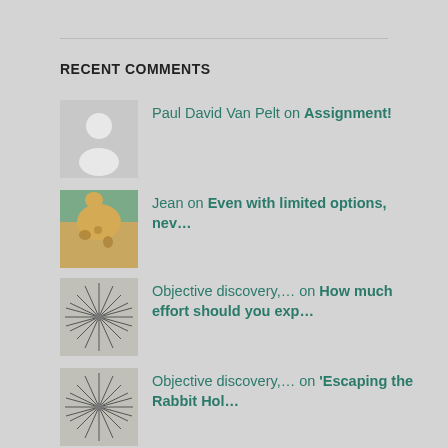RECENT COMMENTS
Paul David Van Pelt on Assignment!
Jean on Even with limited options, nev…
Objective discovery,… on How much effort should you exp…
Objective discovery,… on 'Escaping the Rabbit Hol…
Objective discovery,… on When to wager that a conspirac…
Objective discovery,… on The effect of conspiracy theor…
Bob Lane on Review